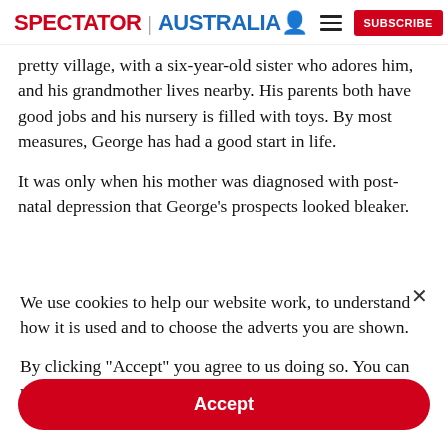SPECTATOR | AUSTRALIA
pretty village, with a six-year-old sister who adores him, and his grandmother lives nearby. His parents both have good jobs and his nursery is filled with toys. By most measures, George has had a good start in life.
It was only when his mother was diagnosed with post-natal depression that George's prospects looked bleaker.
We use cookies to help our website work, to understand how it is used and to choose the adverts you are shown.
By clicking "Accept" you agree to us doing so. You can read more in our privacy policy.